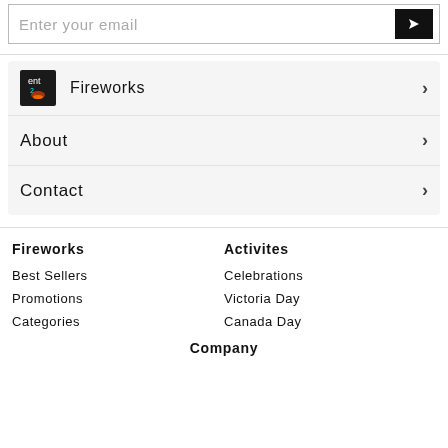Enter your email
Fireworks
About
Contact
Fireworks
Best Sellers
Promotions
Categories
Activites
Celebrations
Victoria Day
Canada Day
Company